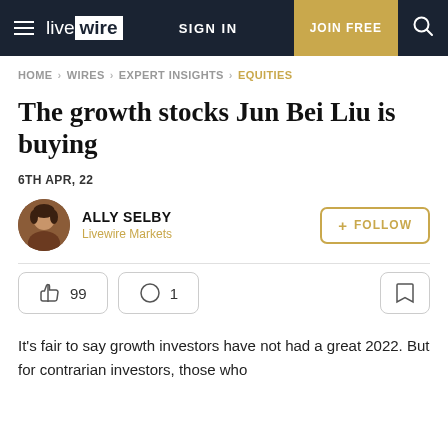livewire | SIGN IN | JOIN FREE
HOME > WIRES > EXPERT INSIGHTS > EQUITIES
The growth stocks Jun Bei Liu is buying
6TH APR, 22
ALLY SELBY
Livewire Markets
+ FOLLOW
99  1
It's fair to say growth investors have not had a great 2022. But for contrarian investors, those who